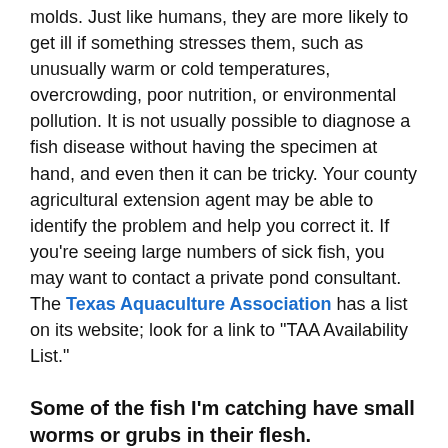molds. Just like humans, they are more likely to get ill if something stresses them, such as unusually warm or cold temperatures, overcrowding, poor nutrition, or environmental pollution. It is not usually possible to diagnose a fish disease without having the specimen at hand, and even then it can be tricky. Your county agricultural extension agent may be able to identify the problem and help you correct it. If you're seeing large numbers of sick fish, you may want to contact a private pond consultant. The Texas Aquaculture Association has a list on its website; look for a link to "TAA Availability List."
Some of the fish I'm catching have small worms or grubs in their flesh.
What's wrong with these fish? Are they safe to eat?
Although some parasites and diseases of North American fishes can be infectious, the vast majority will not develop